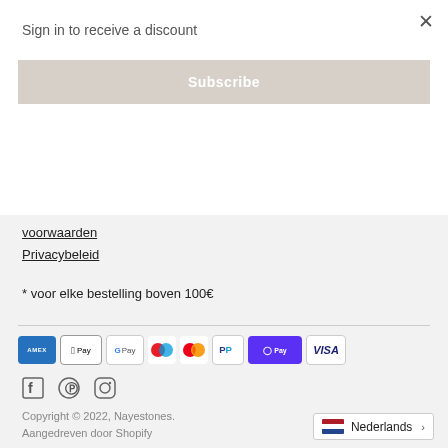Sign in to receive a discount
Subscribe
voorwaarden
Privacybeleid
* voor elke bestelling boven 100€
[Figure (other): Payment method icons: American Express, Apple Pay, Google Pay, Maestro, Mastercard, PayPal, Shop Pay, Visa]
[Figure (other): Social media icons: Facebook, Pinterest, Instagram]
Copyright © 2022, Nayestones.
Aangedreven door Shopify
Nederlands >